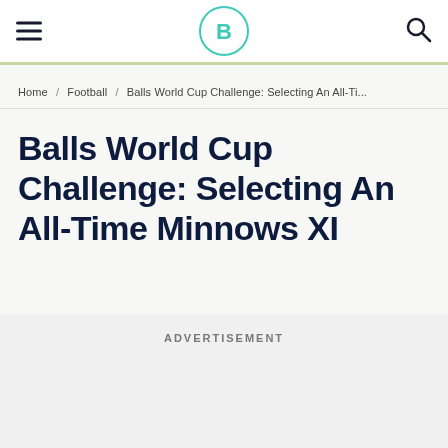Balls.ie — hamburger menu, logo, search icon
Home / Football / Balls World Cup Challenge: Selecting An All-Ti...
Balls World Cup Challenge: Selecting An All-Time Minnows XI
ADVERTISEMENT